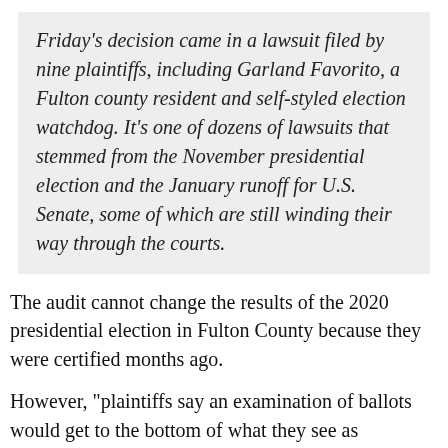Friday's decision came in a lawsuit filed by nine plaintiffs, including Garland Favorito, a Fulton county resident and self-styled election watchdog. It's one of dozens of lawsuits that stemmed from the November presidential election and the January runoff for U.S. Senate, some of which are still winding their way through the courts.
The audit cannot change the results of the 2020 presidential election in Fulton County because they were certified months ago.
However, "plaintiffs say an examination of ballots would get to the bottom of what they see as suspicious activity at State Farm Arena on election night and pave